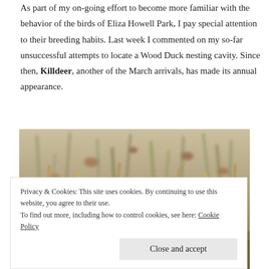As part of my on-going effort to become more familiar with the behavior of the birds of Eliza Howell Park, I pay special attention to their breeding habits. Last week I commented on my so-far unsuccessful attempts to locate a Wood Duck nesting cavity. Since then, Killdeer, another of the March arrivals, has made its annual appearance.
[Figure (photo): Photo of dry grass and vegetation on the ground, blurred background with green grass shoots visible]
Privacy & Cookies: This site uses cookies. By continuing to use this website, you agree to their use.
To find out more, including how to control cookies, see here: Cookie Policy
Close and accept